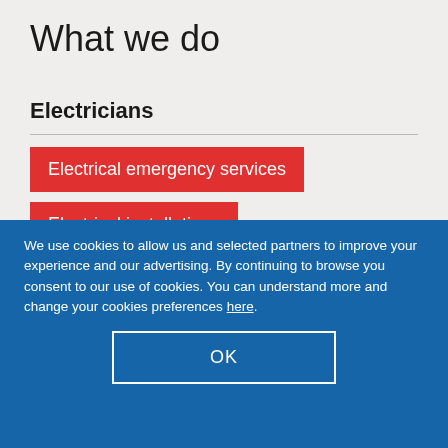What we do
Electricians
Electrical emergency services
Electrical installations
We use cookies to allow us and selected partners to improve your experience and our advertising. By continuing to browse you consent to our use of cookies. You can understand more and change your cookies preferences here.
OK